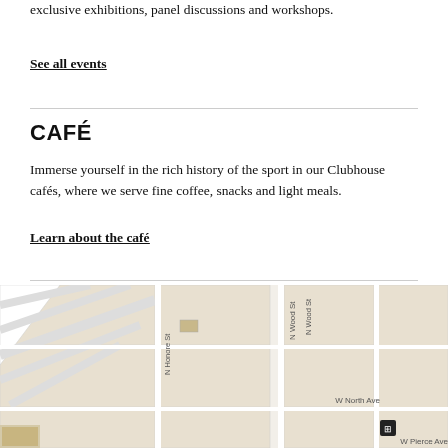exclusive exhibitions, panel discussions and workshops.
See all events
CAFÉ
Immerse yourself in the rich history of the sport in our Clubhouse cafés, where we serve fine coffee, snacks and light meals.
Learn about the café
[Figure (map): Street map showing N Wood St, N Honore St, W North Ave, W Pierce Ave intersection area with city blocks, a map pin marker, scroll/chat UI buttons overlaid]